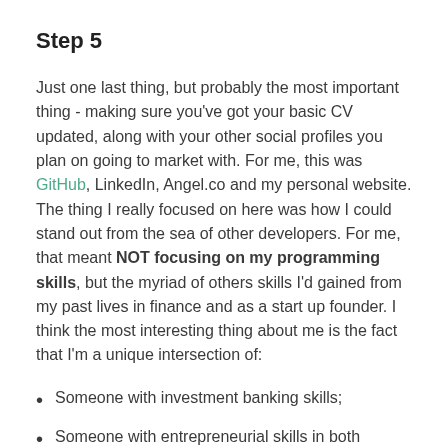Step 5
Just one last thing, but probably the most important thing - making sure you've got your basic CV updated, along with your other social profiles you plan on going to market with. For me, this was GitHub, LinkedIn, Angel.co and my personal website. The thing I really focused on here was how I could stand out from the sea of other developers. For me, that meant NOT focusing on my programming skills, but the myriad of others skills I'd gained from my past lives in finance and as a start up founder. I think the most interesting thing about me is the fact that I'm a unique intersection of:
Someone with investment banking skills;
Someone with entrepreneurial skills in both